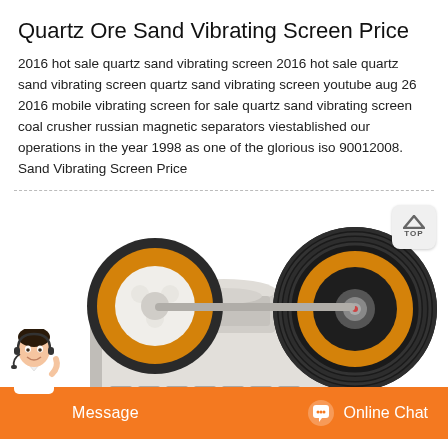Quartz Ore Sand Vibrating Screen Price
2016 hot sale quartz sand vibrating screen 2016 hot sale quartz sand vibrating screen quartz sand vibrating screen youtube aug 26 2016 mobile vibrating screen for sale quartz sand vibrating screen coal crusher russian magnetic separators viestablished our operations in the year 1998 as one of the glorious iso 90012008. Sand Vibrating Screen Price
[Figure (photo): Industrial jaw crusher machine with two large flywheel pulleys (one black with orange rim on right, one dark with orange rim on left), white/grey body, mounted on heavy base. A 'TOP' navigation button is visible in the upper right corner.]
[Figure (photo): Customer service representative (woman with headset) shown in lower left, with orange message/chat bar at bottom containing 'Message' button and 'Online Chat' button with chat icon.]